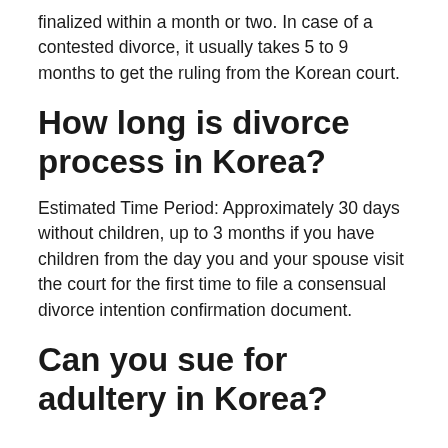finalized within a month or two. In case of a contested divorce, it usually takes 5 to 9 months to get the ruling from the Korean court.
How long is divorce process in Korea?
Estimated Time Period: Approximately 30 days without children, up to 3 months if you have children from the day you and your spouse visit the court for the first time to file a consensual divorce intention confirmation document.
Can you sue for adultery in Korea?